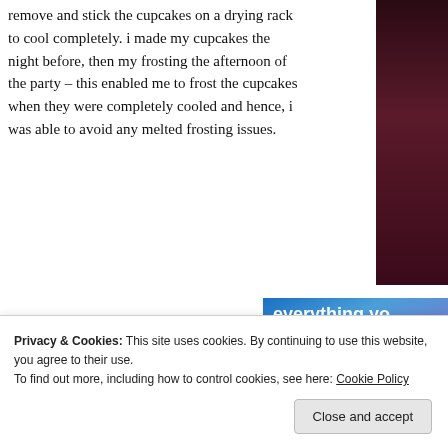remove and stick the cupcakes on a drying rack to cool completely. i made my cupcakes the night before, then my frosting the afternoon of the party – this enabled me to frost the cupcakes when they were completely cooled and hence, i was able to avoid any melted frosting issues.
[Figure (photo): Partial view of a photo on the right side of the page showing a dark red/maroon colored subject]
[Figure (screenshot): Advertisement banner with blue-purple gradient background. Text reads 'everything yo' (cut off). Pink button reads 'Build Your Website'. Close button X in top right corner.]
Privacy & Cookies: This site uses cookies. By continuing to use this website, you agree to their use.
To find out more, including how to control cookies, see here: Cookie Policy
Close and accept